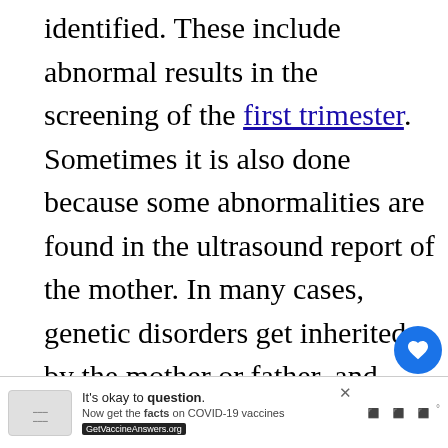identified. These include abnormal results in the screening of the first trimester. Sometimes it is also done because some abnormalities are found in the ultrasound report of the mother. In many cases, genetic disorders get inherited by the mother or father, and then there might be a need for CVS. If the mother's age is above thirty-five, then there are high chances that the fetus might be having genetic and that's why CVS is carried out.
[Figure (screenshot): UI overlay showing a heart/like button (blue circle with heart icon), share count '1', and a share icon]
[Figure (screenshot): What's Next widget showing a thumbnail and text 'How Long Would DNA ...']
[Figure (screenshot): Advertisement banner: 'It's okay to question. Now get the facts on COVID-19 vaccines GetVaccineAnswers.org']